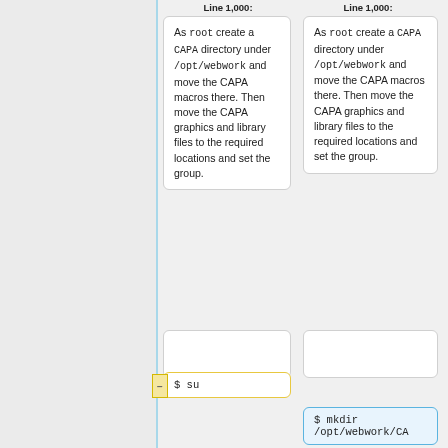Line 1,000:
Line 1,000:
As <code>root</code> create a <code>CAPA</code> directory under <code>/opt/webwork</code> and move the CAPA macros there. Then move the CAPA graphics and library files to the required locations and set the group.
As <code>root</code> create a <code>CAPA</code> directory under <code>/opt/webwork</code> and move the CAPA macros there. Then move the CAPA graphics and library files to the required locations and set the group.
$ su
$ mkdir /opt/webwork/CA